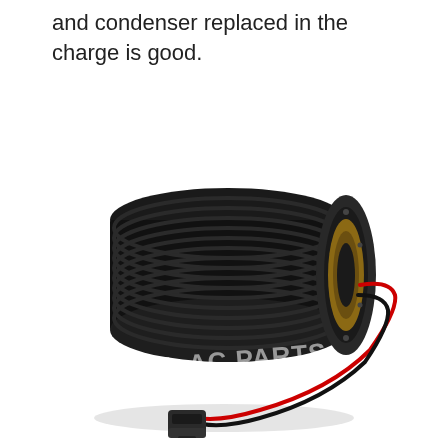and condenser replaced in the charge is good.
[Figure (photo): An AC compressor clutch assembly (electromagnetic clutch/pulley) shown in black with gold/bronze inner coil ring, red and black wires leading to a black electrical connector. Watermark reads 'INTL AC PARTS'.]